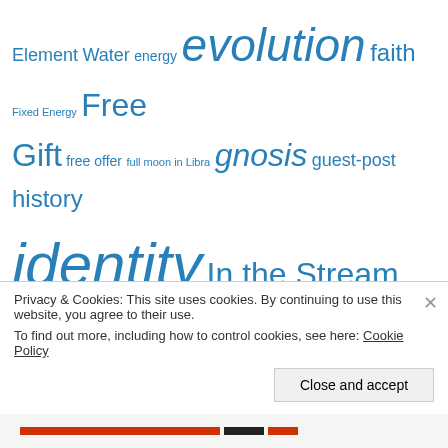Element Water energy evolution faith Fixed Energy Free Gift free offer full moon in Libra gnosis guest-post history identity In the Stream Jupiter in Libra Jupiter in Scorpio Leo living well Mars Mars 2016 mars 2017 Mars 2018 Mercury Mercury rx music Neptune in Pisces North Node in Leo North Node in Virgo off the grid perspective Pluto
Privacy & Cookies: This site uses cookies. By continuing to use this website, you agree to their use. To find out more, including how to control cookies, see here: Cookie Policy